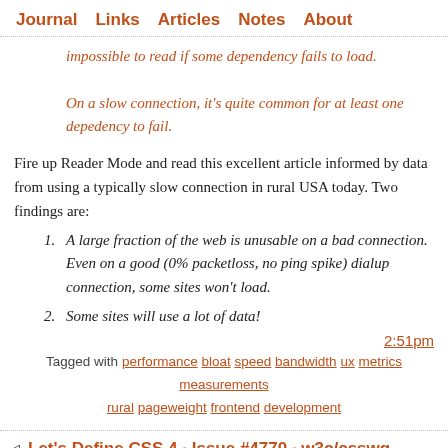Journal   Links   Articles   Notes   About
impossible to read if some dependency fails to load.
On a slow connection, it's quite common for at least one depedency to fail.
Fire up Reader Mode and read this excellent article informed by data from using a typically slow connection in rural USA today. Two findings are:
1. A large fraction of the web is unusable on a bad connection. Even on a good (0% packetloss, no ping spike) dialup connection, some sites won't load.
2. Some sites will use a lot of data!
2:51pm
Tagged with performance bloat speed bandwidth ux metrics measurements rural pageweight frontend development
Let's Define CSS 4 · Issue #4770 · w3c/csswg-